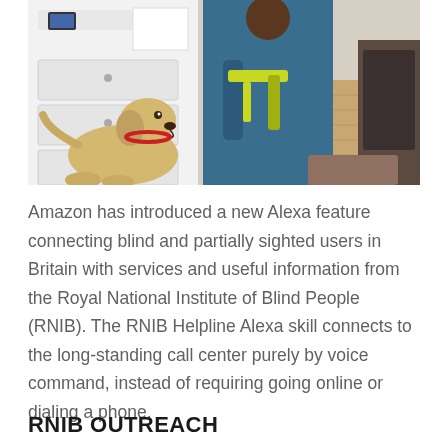[Figure (photo): A person wearing a blue jacket holding a yellow guide dog harness, with a yellow Labrador guide dog looking up at them. The setting is a home interior with white drawers/cabinet on the left and wooden flooring visible on the right.]
Amazon has introduced a new Alexa feature connecting blind and partially sighted users in Britain with services and useful information from the Royal National Institute of Blind People (RNIB). The RNIB Helpline Alexa skill connects to the long-standing call center purely by voice command, instead of requiring going online or dialing a phone.
RNIB OUTREACH